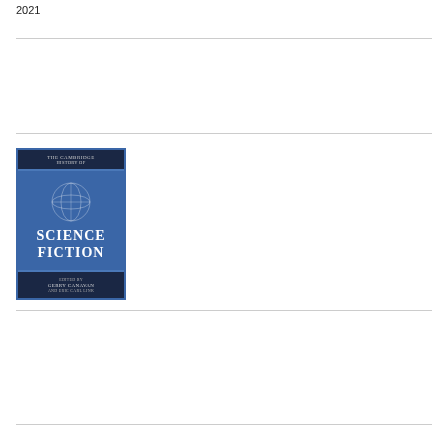2021
[Figure (photo): Book cover of 'The Cambridge History of Science Fiction' edited by Gerry Canavan and Eric Carl Link, published by Cambridge University Press. Blue cover with globe illustration.]